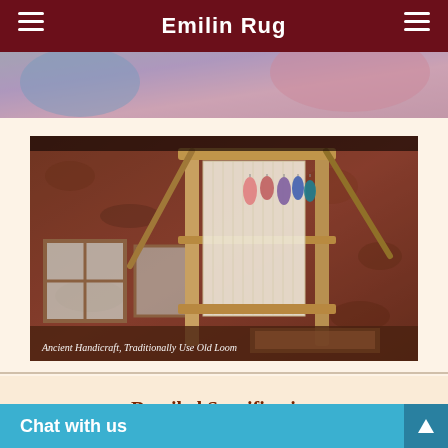Emilin Rug
[Figure (photo): Partial top image showing a person weaving or working with textiles, with blue and purple color tones]
[Figure (photo): Ancient loom used for rug weaving inside a rustic stone room with wooden frame loom, yarn skeins hanging, and a partially woven rug. Caption: Ancient Handicraft, Traditionally Use Old Loom]
Ancient Handicraft, Traditionally Use Old Loom
Detailed Specification
Chat with us